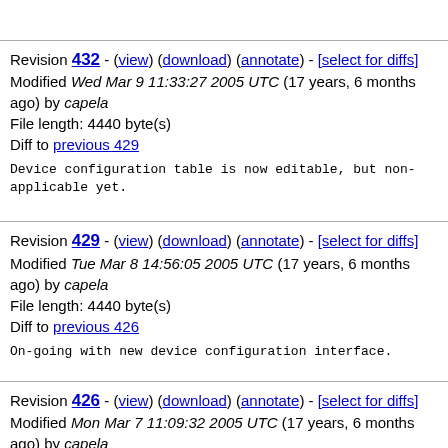Revision 432 - (view) (download) (annotate) - [select for diffs] Modified Wed Mar 9 11:33:27 2005 UTC (17 years, 6 months ago) by capela File length: 4440 byte(s) Diff to previous 429
Device configuration table is now editable, but non-applicable yet.
Revision 429 - (view) (download) (annotate) - [select for diffs] Modified Tue Mar 8 14:56:05 2005 UTC (17 years, 6 months ago) by capela File length: 4440 byte(s) Diff to previous 426
On-going with new device configuration interface.
Revision 426 - (view) (download) (annotate) - [select for diffs] Modified Mon Mar 7 11:09:32 2005 UTC (17 years, 6 months ago) by capela File length: 4440 byte(s) Diff to previous 421